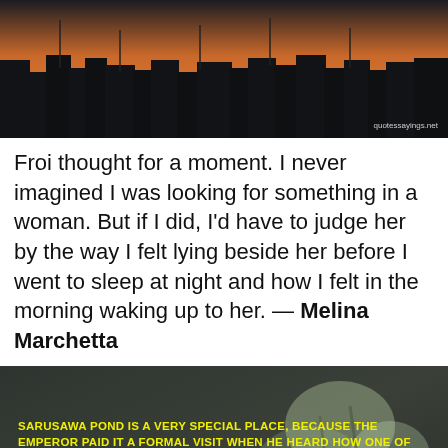[Figure (photo): Dark background photo showing what appears to be a harbor or marina at dusk/night with buildings and boat masts silhouetted against a warm sky. Watermark reads 'quotessayings.net' in bottom right.]
Froi thought for a moment. I never imagined I was looking for something in a woman. But if I did, I'd have to judge her by the way I felt lying beside her before I went to sleep at night and how I felt in the morning waking up to her. — Melina Marchetta
[Figure (photo): Dark moody photo with blurred flowers/plants in foreground and background, with overlaid yellow bold uppercase text containing a quote attributed to Sei Shonagon about Sarusawa Pond.]
SARUSAWA POND IS A VERY SPECIAL PLACE, BECAUSE THE EMPEROR PAID IT A FORMAL VISIT WHEN HE HEARD HOW ONE OF THE PALACE MAIDENS HAD DROWNED HERSELF THERE. 1 THINKING OF HITOMARO'S MARVELLOUS WORDS 'HER HAIR TANGLED AS IN SLEEP', THERE IS REALLY NOTHING I CAN ADD. ~ AUTHOR: SEI SHONAGON